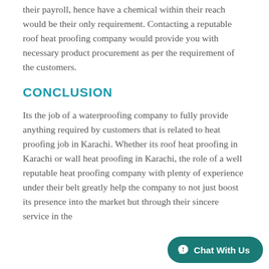their payroll, hence have a chemical within their reach would be their only requirement. Contacting a reputable roof heat proofing company would provide you with necessary product procurement as per the requirement of the customers.
CONCLUSION
Its the job of a waterproofing company to fully provide anything required by customers that is related to heat proofing job in Karachi. Whether its roof heat proofing in Karachi or wall heat proofing in Karachi, the role of a well reputable heat proofing company with plenty of experience under their belt greatly help the company to not just boost its presence into the market but through their sincere service in the